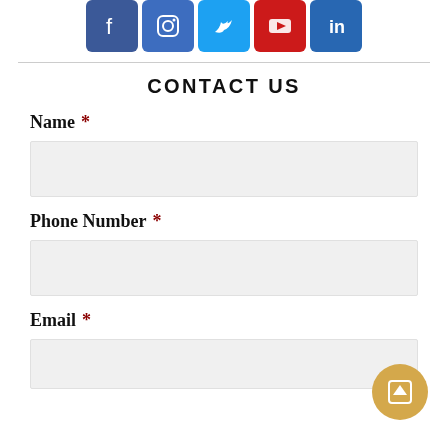[Figure (illustration): Social media icons row: Facebook (blue), Instagram (blue), Twitter (light blue), YouTube (red), LinkedIn (dark blue)]
CONTACT US
Name *
[Figure (other): Empty form input field for Name]
Phone Number *
[Figure (other): Empty form input field for Phone Number]
Email *
[Figure (other): Empty form input field for Email]
[Figure (other): Gold circular scroll-to-top button with upward arrow icon]